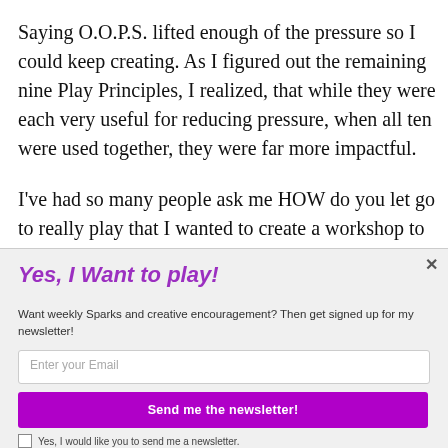Saying O.O.P.S. lifted enough of the pressure so I could keep creating. As I figured out the remaining nine Play Principles, I realized, that while they were each very useful for reducing pressure, when all ten were used together, they were far more impactful.
I've had so many people ask me HOW do you let go to really play that I wanted to create a workshop to help
Yes, I Want to play!
Want weekly Sparks and creative encouragement? Then get signed up for my newsletter!
Enter your Email
Send me the newsletter!
Yes, I would like you to send me a newsletter.